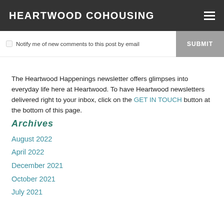HEARTWOOD COHOUSING
Notify me of new comments to this post by email
The Heartwood Happenings newsletter offers glimpses into everyday life here at Heartwood. To have Heartwood newsletters delivered right to your inbox, click on the GET IN TOUCH button at the bottom of this page.
Archives
August 2022
April 2022
December 2021
October 2021
July 2021